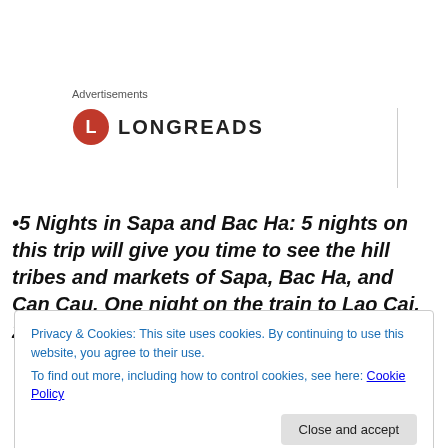Advertisements
[Figure (logo): Longreads logo: red circle with white L, followed by LONGREADS text in bold caps]
•5 Nights in Sapa and Bac Ha: 5 nights on this trip will give you time to see the hill tribes and markets of Sapa, Bac Ha, and Can Cau. One night on the train to Lao Cai, 2 nights in Sapa (leaving very early on
Privacy & Cookies: This site uses cookies. By continuing to use this website, you agree to their use.
To find out more, including how to control cookies, see here: Cookie Policy
Close and accept